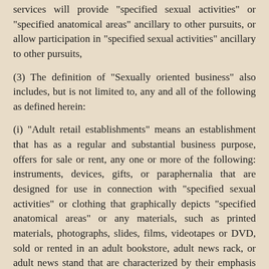services will provide "specified sexual activities" or "specified anatomical areas" ancillary to other pursuits, or allow participation in "specified sexual activities" ancillary to other pursuits,
(3) The definition of "Sexually oriented business" also includes, but is not limited to, any and all of the following as defined herein:
(i) "Adult retail establishments" means an establishment that has as a regular and substantial business purpose, offers for sale or rent, any one or more of the following: instruments, devices, gifts, or paraphernalia that are designed for use in connection with "specified sexual activities" or clothing that graphically depicts "specified anatomical areas" or any materials, such as printed materials, photographs, slides, films, videotapes or DVD, sold or rented in an adult bookstore, adult news rack, or adult news stand that are characterized by their emphasis on matter depicting, describing or relating to "specified